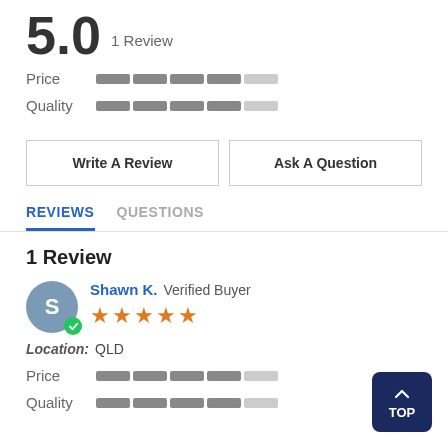5.0  1 Review
Price  [rating bar ~4.5/5]
Quality  [rating bar ~4.5/5]
Write A Review
Ask A Question
REVIEWS  QUESTIONS
1 Review
Shawn K.  Verified Buyer  ★★★★★  Location: QLD
Price  [rating bar ~4.5/5]
Quality  [rating bar ~4/5]